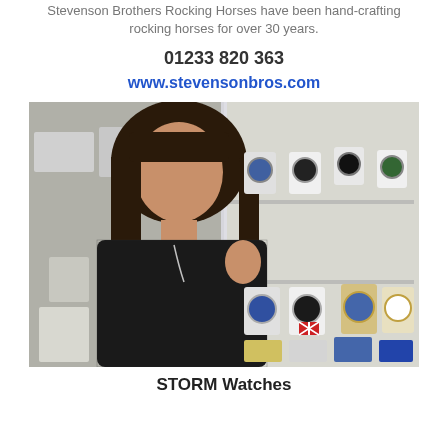Stevenson Brothers Rocking Horses have been hand-crafting rocking horses for over 30 years.
01233 820 363
www.stevensonbros.com
[Figure (photo): Woman in black lace top standing next to a glass jewellery and watch display cabinet showing watches and jewellery on multiple shelves.]
STORM Watches